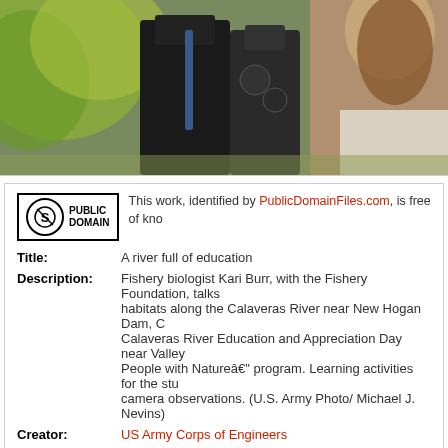[Figure (photo): Photograph of people outdoors near trees, showing what appears to be a field education event. Dark vests/uniforms visible against green foliage background.]
This work, identified by PublicDomainFiles.com, is free of kno...
| Field | Value |
| --- | --- |
| Title: | A river full of education |
| Description: | Fishery biologist Kari Burr, with the Fishery Foundation, talks... habitats along the Calaveras River near New Hogan Dam, C... Calaveras River Education and Appreciation Day near Valley... People with Natureâ€¦ program. Learning activities for the stu... camera observations. (U.S. Army Photo/ Michael J. Nevins) |
| Creator: | US Army Corps of Engineers |
| Source: | US Army Corps of Engineers (Flickr Photostream) |
| Views: | 746 |
| Downloads: | 8 |
| Keywords: | Calaverasrivereducationday, California, Fisheryfoundation, Ka... |
| Date Added: | May 21, 2014 |
Download Options:
Download: Sm
Size: 958 x 639
File size: 161.0 KB
File type: jpg